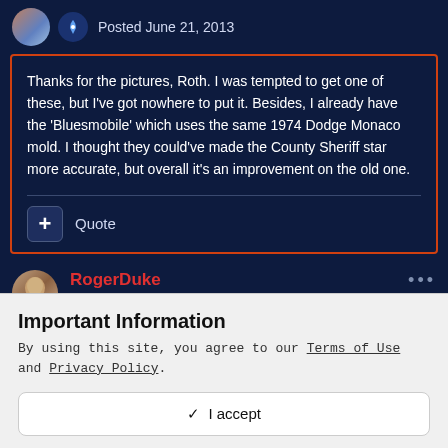Posted June 21, 2013
Thanks for the pictures, Roth. I was tempted to get one of these, but I've got nowhere to put it. Besides, I already have the 'Bluesmobile' which uses the same 1974 Dodge Monaco mold. I thought they could've made the County Sheriff star more accurate, but overall it's an improvement on the old one.
Quote
RogerDuke
Important Information
By using this site, you agree to our Terms of Use and Privacy Policy.
✓ I accept